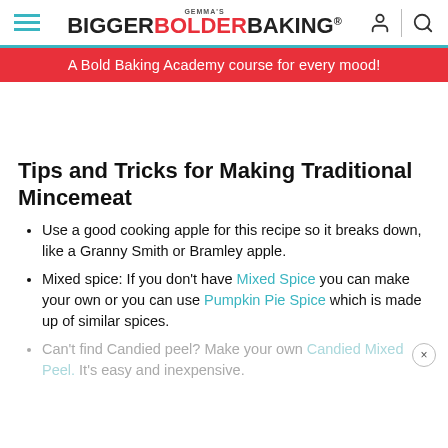GEMMA'S BIGGER BOLDER BAKING®
A Bold Baking Academy course for every mood!
Tips and Tricks for Making Traditional Mincemeat
Use a good cooking apple for this recipe so it breaks down, like a Granny Smith or Bramley apple.
Mixed spice: If you don't have Mixed Spice you can make your own or you can use Pumpkin Pie Spice which is made up of similar spices.
Can't find Candied peel? Make your own Candied Mixed Peel. It's easy and inexpensive.